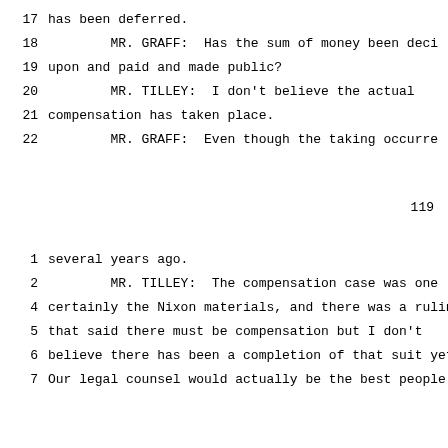17   has been deferred.
18        MR. GRAFF:  Has the sum of money been deci
19   upon and paid and made public?
20        MR. TILLEY:  I don't believe the actual
21   compensation has taken place.
22        MR. GRAFF:  Even though the taking occurre
119
1    several years ago.
2         MR. TILLEY:  The compensation case was one
4    certainly the Nixon materials, and there was a rulin
5    that said there must be compensation but I don't
6    believe there has been a completion of that suit yet
7    Our legal counsel would actually be the best people